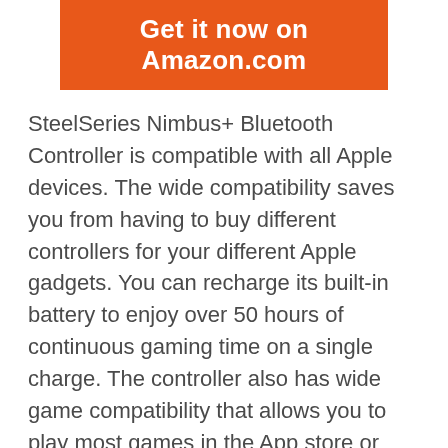Get it now on Amazon.com
SteelSeries Nimbus+ Bluetooth Controller is compatible with all Apple devices. The wide compatibility saves you from having to buy different controllers for your different Apple gadgets. You can recharge its built-in battery to enjoy over 50 hours of continuous gaming time on a single charge. The controller also has wide game compatibility that allows you to play most games in the App store or apple Arcade.